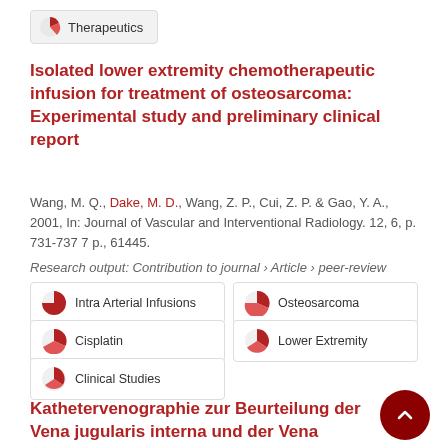Therapeutics
Isolated lower extremity chemotherapeutic infusion for treatment of osteosarcoma: Experimental study and preliminary clinical report
Wang, M. Q., Dake, M. D., Wang, Z. P., Cui, Z. P. & Gao, Y. A., 2001, In: Journal of Vascular and Interventional Radiology. 12, 6, p. 731-737 7 p., 61445.
Research output: Contribution to journal › Article › peer-review
Intra Arterial Infusions
Osteosarcoma
Cisplatin
Lower Extremity
Clinical Studies
Kathetervenographie zur Beurteilung der Vena jugularis interna und der Vena azygos: Positionspapier von Experten der International Society for Neuromodulation Dis...